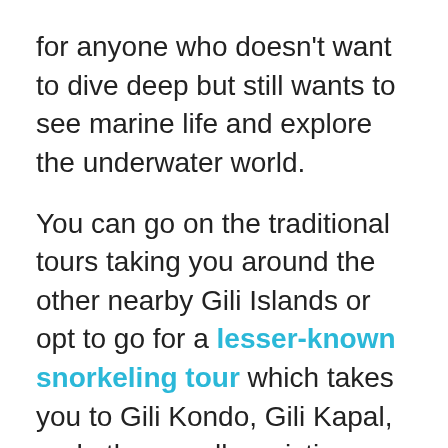for anyone who doesn't want to dive deep but still wants to see marine life and explore the underwater world.
You can go on the traditional tours taking you around the other nearby Gili Islands or opt to go for a lesser-known snorkeling tour which takes you to Gili Kondo, Gili Kapal, and other smaller pristine islands.
View Snorkeling Tour